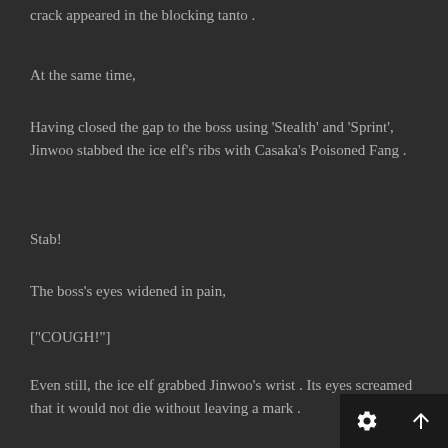crack appeared in the blocking tanto .
At the same time,
Having closed the gap to the boss using 'Stealth' and 'Sprint', Jinwoo stabbed the ice elf's ribs with Casaka's Poisoned Fang .
Stab!
The boss's eyes widened in pain,
["COUGH!"]
Even still, the ice elf grabbed Jinwoo's wrist .  Its eyes screamed that it would not die without leaving a mark .